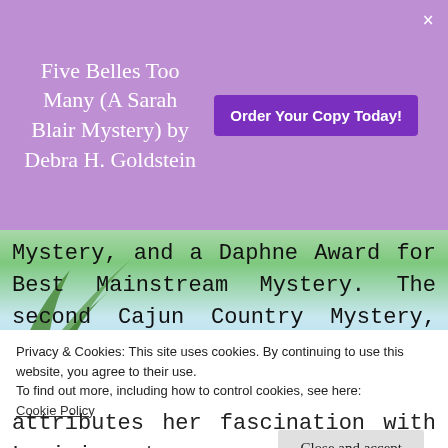Five Belles Too Many (A Sarah Blair Mystery) by Debra H. Goldstein
Order Your Copy Today!
Mystery, and a Daphne Award for Best Mainstream Mystery. The second Cajun Country Mystery, BODY ON THE BAYOU, will be available in September 2016. Ellen's TV credits include Wings and Just Shoot Me; she's written over 200 magazine
Privacy & Cookies: This site uses cookies. By continuing to use this website, you agree to their use.
To find out more, including how to control cookies, see here:
Cookie Policy
Close and accept
attributes her fascination with Louisiana to